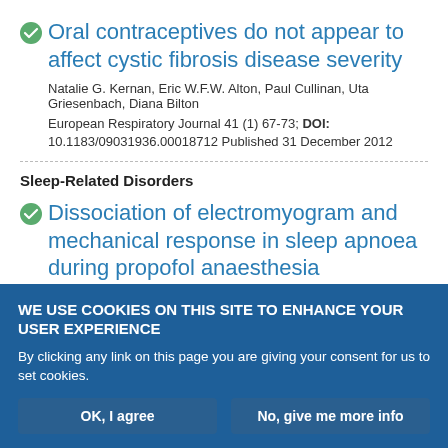Oral contraceptives do not appear to affect cystic fibrosis disease severity
Natalie G. Kernan, Eric W.F.W. Alton, Paul Cullinan, Uta Griesenbach, Diana Bilton
European Respiratory Journal 41 (1) 67-73; DOI: 10.1183/09031936.00018712 Published 31 December 2012
Sleep-Related Disorders
Dissociation of electromyogram and mechanical response in sleep apnoea during propofol anaesthesia
WE USE COOKIES ON THIS SITE TO ENHANCE YOUR USER EXPERIENCE
By clicking any link on this page you are giving your consent for us to set cookies.